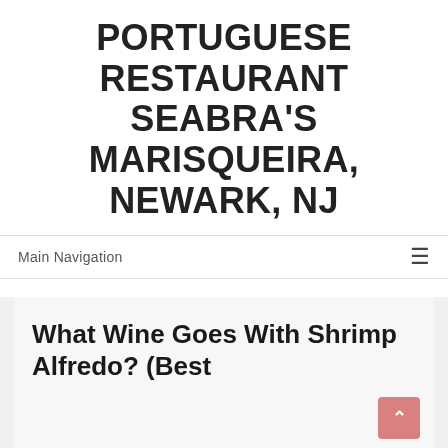PORTUGUESE RESTAURANT SEABRA'S MARISQUEIRA, NEWARK, NJ
Main Navigation
What Wine Goes With Shrimp Alfredo? (Best